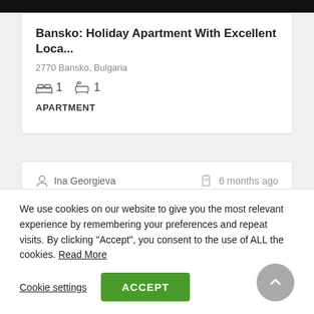Bansko: Holiday Apartment With Excellent Loca...
2770 Bansko, Bulgaria
1  1
APARTMENT
Ina Georgieva
6 months ago
We use cookies on our website to give you the most relevant experience by remembering your preferences and repeat visits. By clicking "Accept", you consent to the use of ALL the cookies. Read More
Cookie settings
ACCEPT